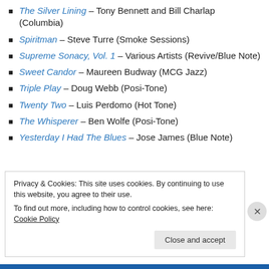The Silver Lining – Tony Bennett and Bill Charlap (Columbia)
Spiritman – Steve Turre (Smoke Sessions)
Supreme Sonacy, Vol. 1 – Various Artists (Revive/Blue Note)
Sweet Candor – Maureen Budway (MCG Jazz)
Triple Play – Doug Webb (Posi-Tone)
Twenty Two – Luis Perdomo (Hot Tone)
The Whisperer – Ben Wolfe (Posi-Tone)
Yesterday I Had The Blues – Jose James (Blue Note)
Privacy & Cookies: This site uses cookies. By continuing to use this website, you agree to their use. To find out more, including how to control cookies, see here: Cookie Policy